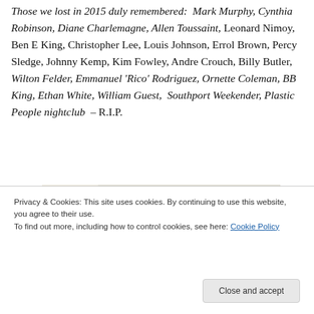Those we lost in 2015 duly remembered: Mark Murphy, Cynthia Robinson, Diane Charlemagne, Allen Toussaint, Leonard Nimoy, Ben E King, Christopher Lee, Louis Johnson, Errol Brown, Percy Sledge, Johnny Kemp, Kim Fowley, Andre Crouch, Billy Butler, Wilton Felder, Emmanuel 'Rico' Rodriguez, Ornette Coleman, BB King, Ethan White, William Guest, Southport Weekender, Plastic People nightclub – R.I.P.
[Figure (photo): Partial view of a food/cookbook photo with dishes and a book visible]
Privacy & Cookies: This site uses cookies. By continuing to use this website, you agree to their use.
To find out more, including how to control cookies, see here: Cookie Policy